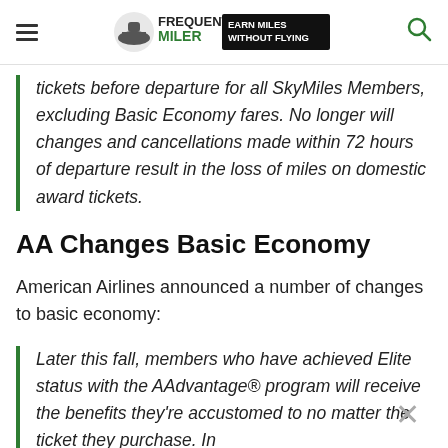Frequent Miler — Earn Miles Without Flying
tickets before departure for all SkyMiles Members, excluding Basic Economy fares. No longer will changes and cancellations made within 72 hours of departure result in the loss of miles on domestic award tickets.
AA Changes Basic Economy
American Airlines announced a number of changes to basic economy:
Later this fall, members who have achieved Elite status with the AAdvantage® program will receive the benefits they're accustomed to no matter the ticket they purchase. In